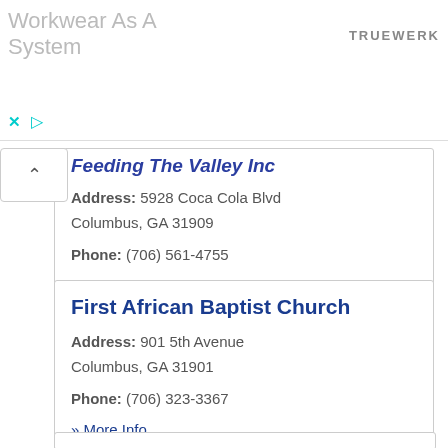[Figure (screenshot): Ad banner for Truewerk workwear with gray text 'Workwear As A System', brand name 'TRUEWERK' in top right, and close/play controls at bottom left]
Feeding The Valley Inc
Address: 5928 Coca Cola Blvd
Columbus, GA 31909
Phone: (706) 561-4755
» More Info
First African Baptist Church
Address: 901 5th Avenue
Columbus, GA 31901
Phone: (706) 323-3367
» More Info